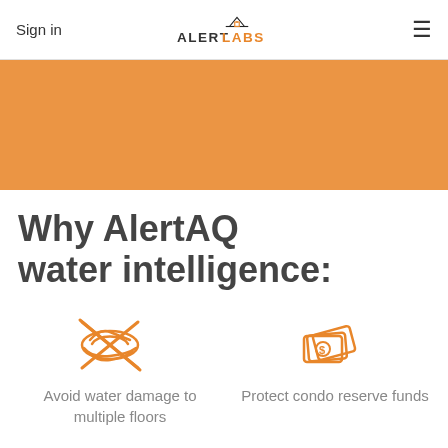Sign in | ALERTLABS | (hamburger menu)
[Figure (photo): Orange hero band showing an interior room background with orange overlay]
Why AlertAQ water intelligence:
[Figure (illustration): Orange icon of water/flooding with crossed out symbol (avoid water damage)]
[Figure (illustration): Orange icon of money/cash bills (protect condo reserve funds)]
Avoid water damage to multiple floors
Protect condo reserve funds